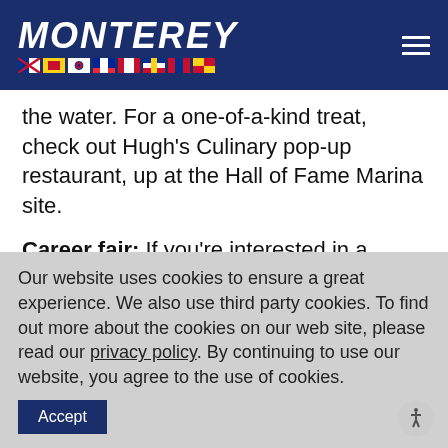MONTEREY
the water. For a one-of-a-kind treat, check out Hugh's Culinary pop-up restaurant, up at the Hall of Fame Marina site.
Career fair: If you're interested in a marine industry career, or just want to learn more about possible jobs and networking, visit the first of its kind career fair at the show! The
Our website uses cookies to ensure a great experience. We also use third party cookies. To find out more about the cookies on our web site, please read our privacy policy. By continuing to use our website, you agree to the use of cookies.